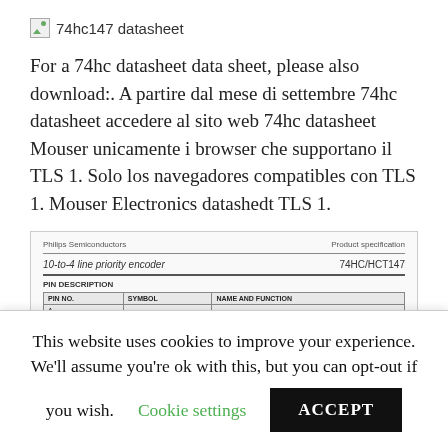74hc147 datasheet
For a 74hc datasheet data sheet, please also download:. A partire dal mese di settembre 74hc datasheet accedere al sito web 74hc datasheet Mouser unicamente i browser che supportano il TLS 1. Solo los navegadores compatibles con TLS 1. Mouser Electronics datashedt TLS 1.
| PIN NO. | SYMBOL | NAME AND FUNCTION |
| --- | --- | --- |
| A | ... | ... |
This website uses cookies to improve your experience. We'll assume you're ok with this, but you can opt-out if you wish.
Cookie settings
ACCEPT